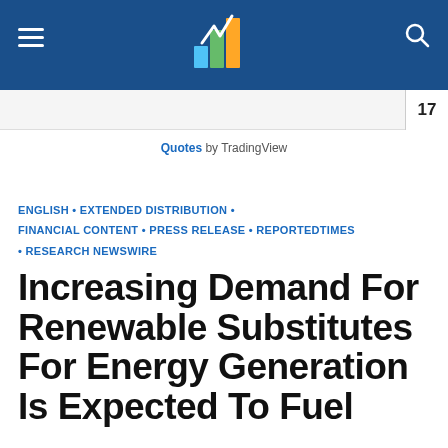Quotes by TradingView
ENGLISH • EXTENDED DISTRIBUTION • FINANCIAL CONTENT • PRESS RELEASE • REPORTEDTIMES • RESEARCH NEWSWIRE
Increasing Demand For Renewable Substitutes For Energy Generation Is Expected To Fuel